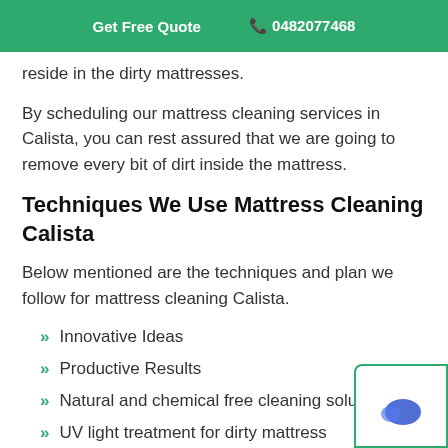Get Free Quote  📞 0482077468
reside in the dirty mattresses.
By scheduling our mattress cleaning services in Calista, you can rest assured that we are going to remove every bit of dirt inside the mattress.
Techniques We Use Mattress Cleaning Calista
Below mentioned are the techniques and plan we follow for mattress cleaning Calista.
Innovative Ideas
Productive Results
Natural and chemical free cleaning solutions
UV light treatment for dirty mattress